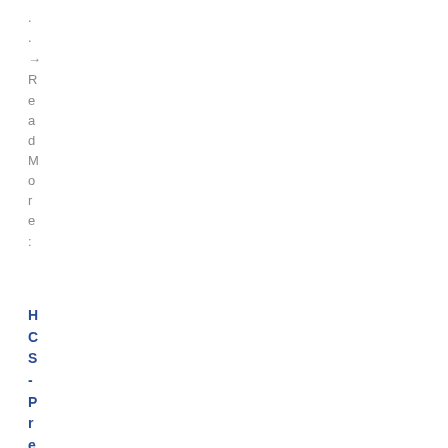. . → ReadMore: HCS-Pre-Sales...
HCS-Pre-Sales